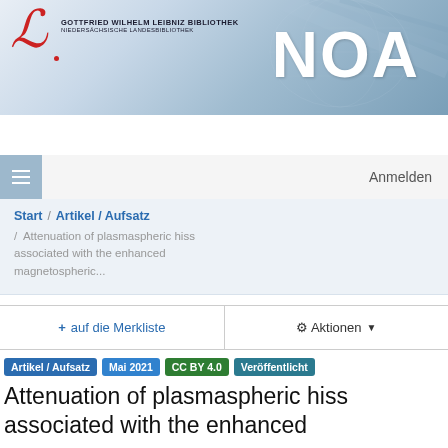[Figure (logo): Gottfried Wilhelm Leibniz Bibliothek logo with stylized red L and NOA text on blue gradient background with world map]
Niedersächsisches Online-Archiv
Anmelden
Start / Artikel / Aufsatz / Attenuation of plasmaspheric hiss associated with the enhanced magnetospheric...
+ auf die Merkliste    ⚙ Aktionen▼
Artikel / Aufsatz   Mai 2021   CC BY 4.0   Veröffentlicht
Attenuation of plasmaspheric hiss associated with the enhanced